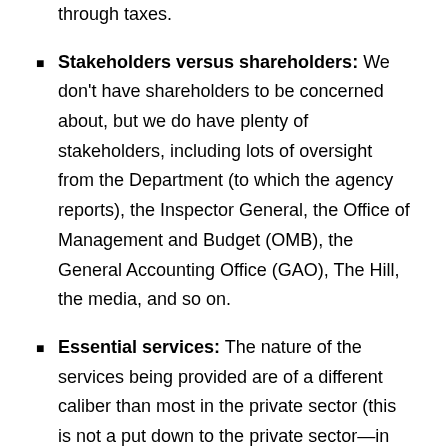through taxes.
Stakeholders versus shareholders: We don't have shareholders to be concerned about, but we do have plenty of stakeholders, including lots of oversight from the Department (to which the agency reports), the Inspector General, the Office of Management and Budget (OMB), the General Accounting Office (GAO), The Hill, the media, and so on.
Essential services: The nature of the services being provided are of a different caliber than most in the private sector (this is not a put down to the private sector—in fact, I came to the government from the financial services industry). The services that the government provides such as law enforcement, defense readiness, consumer safety, health management, social services, and so on are absolutely